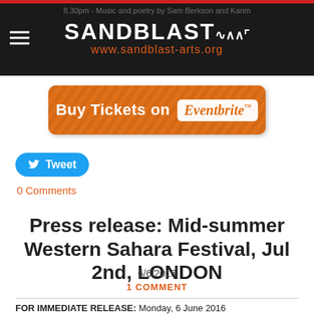8.30pm - Music and poetry by Sam Berkson and Karim | SANDBLAST www.sandblast-arts.org
[Figure (screenshot): Orange Eventbrite ticket purchase button reading 'Buy Tickets on Eventbrite']
[Figure (screenshot): Blue Twitter Tweet button]
0 Comments
Press release: Mid-summer Western Sahara Festival, Jul 2nd, LONDON
6/6/2016
1 COMMENT
FOR IMMEDIATE RELEASE: Monday, 6 June 2016